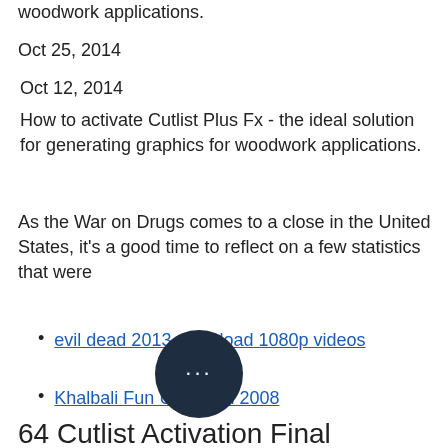woodwork applications.
Oct 25, 2014
Oct 12, 2014
How to activate Cutlist Plus Fx - the ideal solution for generating graphics for woodwork applications.
As the War on Drugs comes to a close in the United States, it's a good time to reflect on a few statistics that were
evil dead 2013 download 1080p videos
Khalbali Fun Unlimited 2008
[Figure (illustration): Dark circular button with three white dots (ellipsis)]
64 Cutlist Activation Final